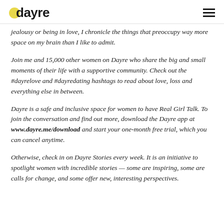dayre
jealousy or being in love, I chronicle the things that preoccupy way more space on my brain than I like to admit.
Join me and 15,000 other women on Dayre who share the big and small moments of their life with a supportive community. Check out the #dayrelove and #dayredating hashtags to read about love, loss and everything else in between.
Dayre is a safe and inclusive space for women to have Real Girl Talk. To join the conversation and find out more, download the Dayre app at www.dayre.me/download and start your one-month free trial, which you can cancel anytime.
Otherwise, check in on Dayre Stories every week. It is an initiative to spotlight women with incredible stories — some are inspiring, some are calls for change, and some offer new, interesting perspectives.